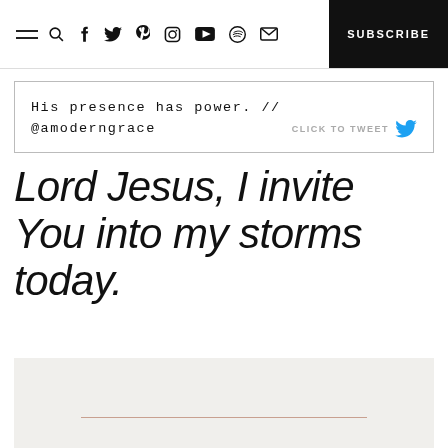SUBSCRIBE
His presence has power. // @amoderngrace   CLICK TO TWEET
Lord Jesus, I invite You into my storms today.